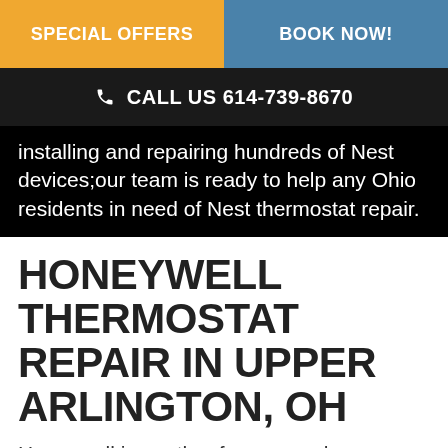SPECIAL OFFERS | BOOK NOW!
CALL US 614-739-8670
installing and repairing hundreds of Nest devices;our team is ready to help any Ohio residents in need of Nest thermostat repair.
HONEYWELL THERMOSTAT REPAIR IN UPPER ARLINGTON, OH
Honeywell is another famous and accomplished thermostat manufacturer. While typically less